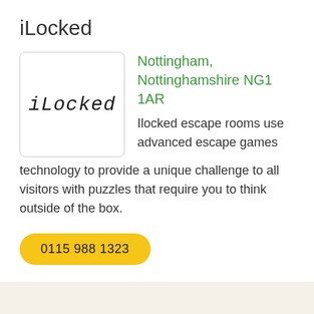iLocked
[Figure (logo): iLocked logo — handwritten-style italic text reading 'iLocked' in black on white background with rounded border]
Nottingham, Nottinghamshire NG1 1AR
Ilocked escape rooms use advanced escape games technology to provide a unique challenge to all visitors with puzzles that require you to think outside of the box.
0115 988 1323
Sign Up   Contacts   Privacy   Return   Terms